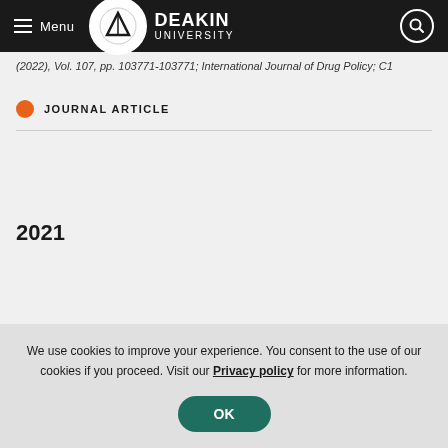Deakin University — Menu | Search
(2022), Vol. 107, pp. 103771-103771; International Journal of Drug Policy; C1
JOURNAL ARTICLE
2021
We use cookies to improve your experience. You consent to the use of our cookies if you proceed. Visit our Privacy policy for more information.